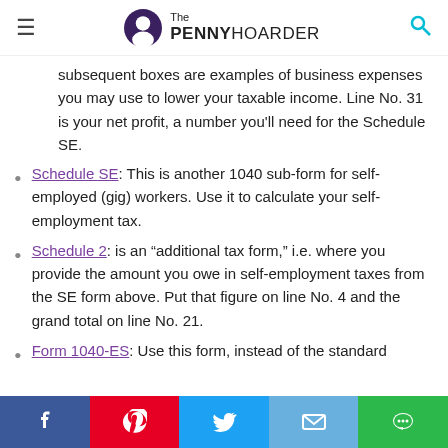The Penny Hoarder
subsequent boxes are examples of business expenses you may use to lower your taxable income. Line No. 31 is your net profit, a number you'll need for the Schedule SE.
Schedule SE: This is another 1040 sub-form for self-employed (gig) workers. Use it to calculate your self-employment tax.
Schedule 2: is an “additional tax form,” i.e. where you provide the amount you owe in self-employment taxes from the SE form above. Put that figure on line No. 4 and the grand total on line No. 21.
Form 1040-ES: Use this form, instead of the standard